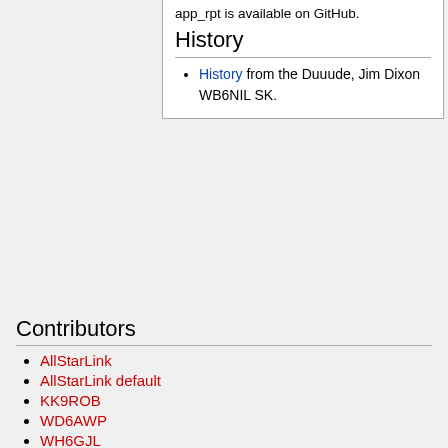app_rpt is available on GitHub.
History
History from the Duuude, Jim Dixon WB6NIL SK.
Contributors
AllStarLink
AllStarLink default
KK9ROB
WD6AWP
WH6GJL
This page was last edited on 2 February 2018, at 14:53.
Privacy policy   About AllStarLink Wiki   Disclaimers